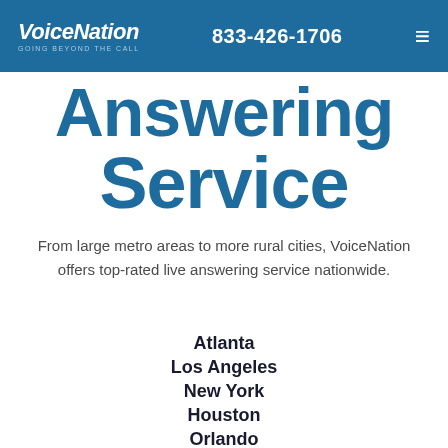VoiceNation GOING BEYOND THE CALL | 833-426-1706
Answering Service
From large metro areas to more rural cities, VoiceNation offers top-rated live answering service nationwide.
Atlanta
Los Angeles
New York
Houston
Orlando